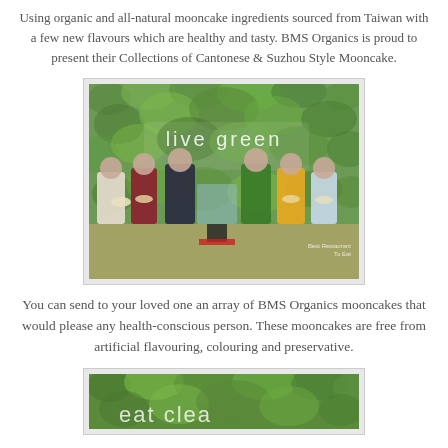Using organic and all-natural mooncake ingredients sourced from Taiwan with a few new flavours which are healthy and tasty. BMS Organics is proud to present their Collections of Cantonese & Suzhou Style Mooncake.
[Figure (photo): Group photo of six people posing in front of a green plant wall with 'live green' text. They are holding plates of mooncakes. A display stand is in the center. Watermark reads 'Best Restaurant To Eat'.]
You can send to your loved one an array of BMS Organics mooncakes that would please any health-conscious person. These mooncakes are free from artificial flavouring, colouring and preservative.
[Figure (photo): Partially visible image showing green plants and what appears to be text beginning with letters of 'eat clean' or similar, on a green leafy background.]